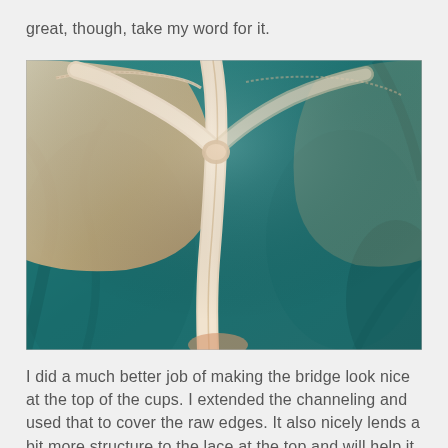great, though, take my word for it.
[Figure (photo): Close-up photograph of the interior bridge area of a teal/turquoise bra, showing cream/beige channeling and lace trim at the top of the cups meeting at the center front bridge.]
I did a much better job of making the bridge look nice at the top of the cups. I extended the channeling and used that to cover the raw edges. It also nicely lends a bit more structure to the lace at the top and will help it last